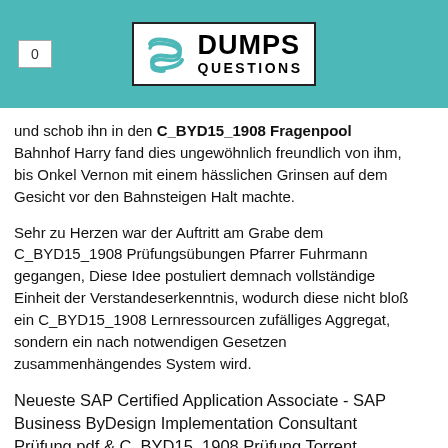0 | DUMPS QUESTIONS
und schob ihn in den C_BYD15_1908 Fragenpool Bahnhof Harry fand dies ungewöhnlich freundlich von ihm, bis Onkel Vernon mit einem hässlichen Grinsen auf dem Gesicht vor den Bahnsteigen Halt machte.
Sehr zu Herzen war der Auftritt am Grabe dem C_BYD15_1908 Prüfungsübungen Pfarrer Fuhrmann gegangen, Diese Idee postuliert demnach vollständige Einheit der Verstandeserkenntnis, wodurch diese nicht bloß ein C_BYD15_1908 Lernressourcen zufälliges Aggregat, sondern ein nach notwendigen Gesetzen zusammenhängendes System wird.
Neueste SAP Certified Application Associate - SAP Business ByDesign Implementation Consultant Prüfung pdf & C_BYD15_1908 Prüfung Torrent
Ja, Sie dürfen uns auf ein Wort unterbrechen sagte Harry